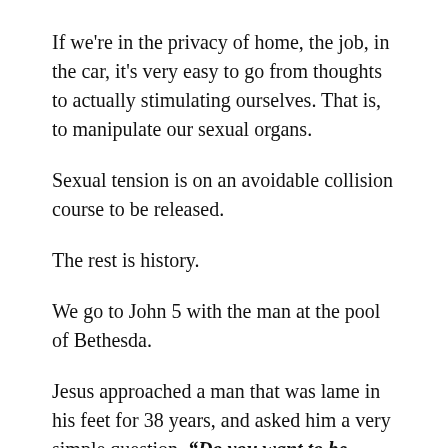If we're in the privacy of home, the job, in the car, it's very easy to go from thoughts to actually stimulating ourselves. That is, to manipulate our sexual organs.
Sexual tension is on an avoidable collision course to be released.
The rest is history.
We go to John 5 with the man at the pool of Bethesda.
Jesus approached a man that was lame in his feet for 38 years, and asked him a very simple question, “Do you want to be made whole.”